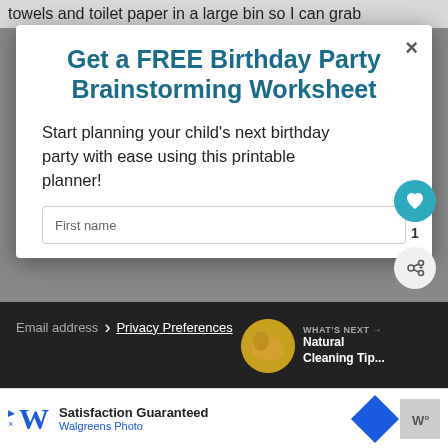towels and toilet paper in a large bin so I can grab
Get a FREE Birthday Party Brainstorming Worksheet
Start planning your child's next birthday party with ease using this printable planner!
First name
Email address
Privacy Preferences
WHAT'S NEXT → Natural Cleaning Tip...
Satisfaction Guaranteed Walgreens Photo